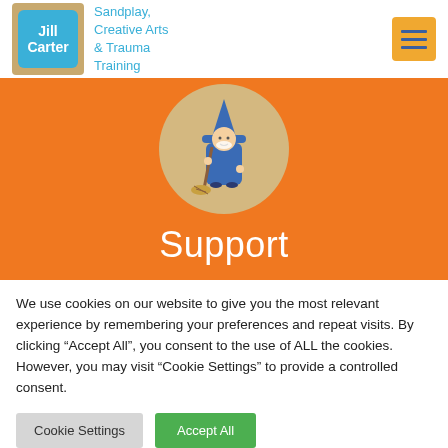[Figure (logo): Jill Carter logo with blue rounded square on tan background, plus tagline 'Sandplay, Creative Arts & Trauma Training']
[Figure (illustration): Witch character wearing blue robe and pointed hat, holding a broom, standing inside a tan/beige circle, on orange background]
Support
We use cookies on our website to give you the most relevant experience by remembering your preferences and repeat visits. By clicking “Accept All”, you consent to the use of ALL the cookies. However, you may visit “Cookie Settings” to provide a controlled consent.
Cookie Settings | Accept All